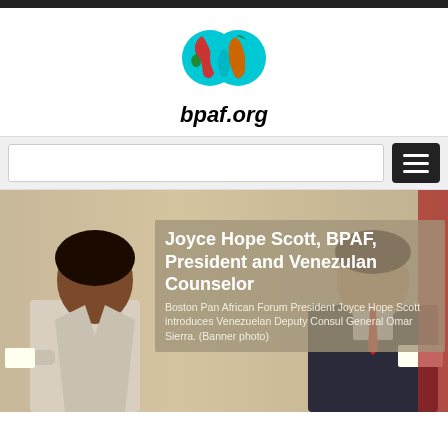[Figure (logo): Two overlapping globe icons showing world map with colorful continents (Americas on left globe, Africa/Europe on right globe), teal/cyan oceans]
bpaf.org
[Figure (screenshot): Navigation bar with light gray background, search input field on left, black hamburger menu button (three white lines) on right]
[Figure (photo): Banner photo showing two people: a Black woman in a light blazer on the left (Joyce Hope Scott, BPAF President) and a Hispanic man in a dark suit on the right (Venezuelan Deputy Consul General Omar Sierra), in what appears to be a meeting room with yellow/tan walls]
Joyce Hope Scott, BPAF, President and Venezulan Counselor
Boston Pan African Forum President Joyce Hope Scott introduces Venezuelan Deputy Consul General Omar Sierra. (Banner photo)